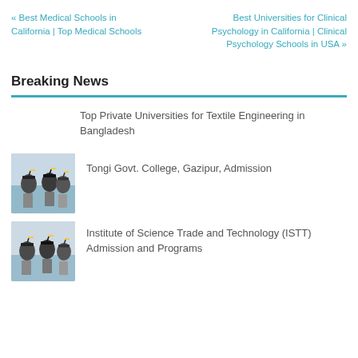« Best Medical Schools in California | Top Medical Schools
Best Universities for Clinical Psychology in California | Clinical Psychology Schools in USA »
Breaking News
Top Private Universities for Textile Engineering in Bangladesh
[Figure (photo): Graduates in caps and gowns holding diplomas aloft]
Tongi Govt. College, Gazipur, Admission
[Figure (photo): Graduates in caps and gowns holding diplomas aloft]
Institute of Science Trade and Technology (ISTT) Admission and Programs